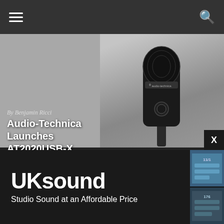Navigation bar with hamburger menu and search icon
[Figure (photo): Audio-Technica AT2020USB-X cardioid condenser microphone product photo on grey background]
By Benjamin Ricci
Audio-Technica Launches AT2020USB-X Cardioid Condenser Microphone
REVIEW: PRS SE Silver Sky
REVIEW: Phenyx Pro PTU-5000A 4-Channel Wireless Mic System
Love You Later On Navigating TikTok and Creating a Visual Sound
Travis Shallow: Building a Real-World Connection Through Digital Barriers
COVER STORY: Mia Asano Makes Violin Cool (Again)
INTERV…
The My…
[Figure (advertisement): UK Sound advertisement: 'UKsound - Studio Sound at an Affordable Price']